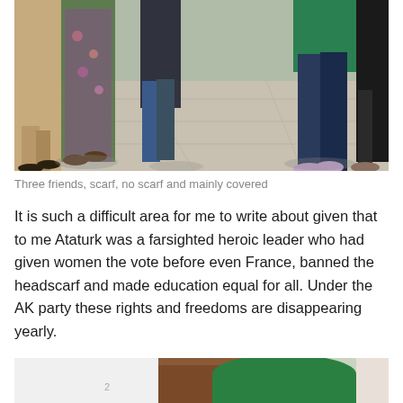[Figure (photo): Street-level photo showing legs and feet of several people walking on a paved sidewalk; some wearing long robes/skirts, floral dress, jeans, sneakers, and dark trousers.]
Three friends, scarf, no scarf and mainly covered
It is such a difficult area for me to write about given that to me Ataturk was a farsighted heroic leader who had given women the vote before even France, banned the headscarf and made education equal for all. Under the AK party these rights and freedoms are disappearing yearly.
[Figure (photo): Bottom portion of a photo showing a person wearing a green head covering near a wooden object, partially cropped.]